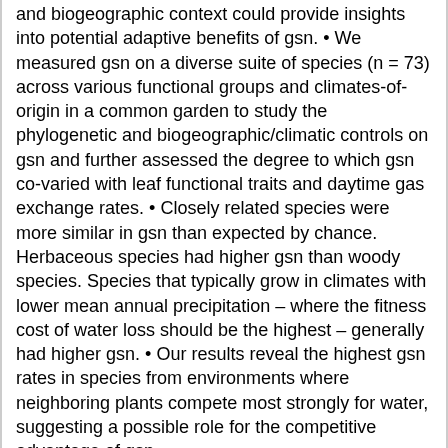and biogeographic context could provide insights into potential adaptive benefits of gsn. • We measured gsn on a diverse suite of species (n = 73) across various functional groups and climates-of-origin in a common garden to study the phylogenetic and biogeographic/climatic controls on gsn and further assessed the degree to which gsn co-varied with leaf functional traits and daytime gas exchange rates. • Closely related species were more similar in gsn than expected by chance. Herbaceous species had higher gsn than woody species. Species that typically grow in climates with lower mean annual precipitation – where the fitness cost of water loss should be the highest – generally had higher gsn. • Our results reveal the highest gsn rates in species from environments where neighboring plants compete most strongly for water, suggesting a possible role for the competitive advantage of gsn.
Keyword:
competition, adaption, woody species, water resource, gas exchange, biogeographic, phylogenetic, herbaceous species, nighttime stomata, and climate controls
Creator: